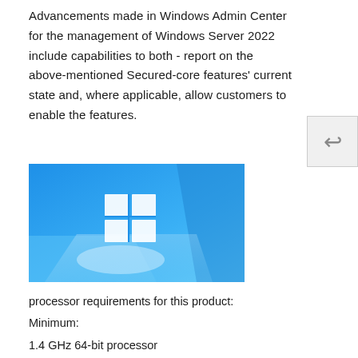Advancements made in Windows Admin Center for the management of Windows Server 2022 include capabilities to both - report on the above-mentioned Secured-core features' current state and, where applicable, allow customers to enable the features.
[Figure (illustration): Windows logo on a blue gradient background with abstract geometric shapes and light reflections]
processor requirements for this product:
Minimum:
1.4 GHz 64-bit processor
Compatible with x64 instruction set
Supports NX and DEP